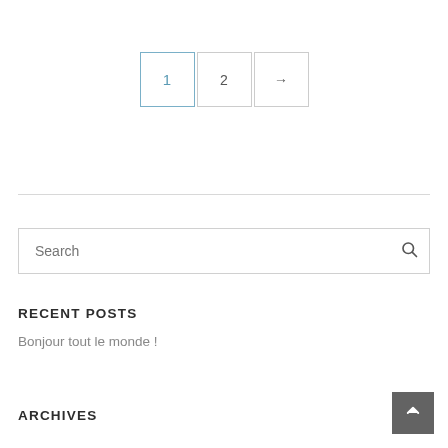[Figure (other): Pagination controls with three boxes: page 1 (active, blue border), page 2, and next arrow (→)]
[Figure (other): Search input box with placeholder text 'Search' and a search icon on the right]
RECENT POSTS
Bonjour tout le monde !
ARCHIVES